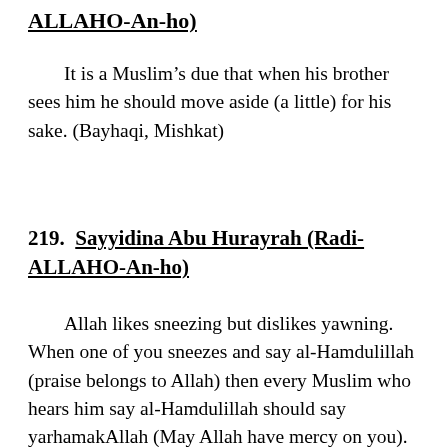ALLAHO-An-ho)
It is a Muslim's due that when his brother sees him he should move aside (a little) for his sake. (Bayhaqi, Mishkat)
219.  Sayyidina Abu Hurayrah (Radi-ALLAHO-An-ho)
Allah likes sneezing but dislikes yawning. When one of you sneezes and say al-Hamdulillah (praise belongs to Allah) then every Muslim who hears him say al-Hamdulillah should say yarhamakAllah (May Allah have mercy on you). As for yawning, it is from the devil; so, if any one